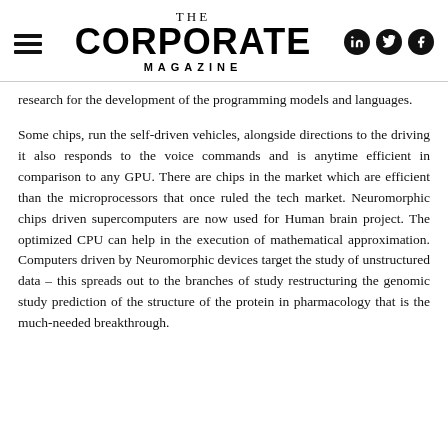THE CORPORATE MAGAZINE
research for the development of the programming models and languages.
Some chips, run the self-driven vehicles, alongside directions to the driving it also responds to the voice commands and is anytime efficient in comparison to any GPU. There are chips in the market which are efficient than the microprocessors that once ruled the tech market. Neuromorphic chips driven supercomputers are now used for Human brain project. The optimized CPU can help in the execution of mathematical approximation. Computers driven by Neuromorphic devices target the study of unstructured data – this spreads out to the branches of study restructuring the genomic study prediction of the structure of the protein in pharmacology that is the much-needed breakthrough.